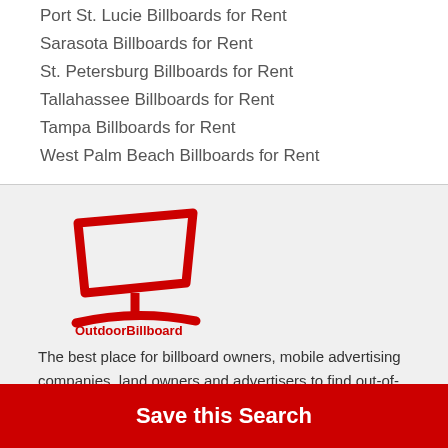Port St. Lucie Billboards for Rent
Sarasota Billboards for Rent
St. Petersburg Billboards for Rent
Tallahassee Billboards for Rent
Tampa Billboards for Rent
West Palm Beach Billboards for Rent
[Figure (logo): OutdoorBillboard logo — red billboard icon above the text 'OutdoorBillboard' in red]
The best place for billboard owners, mobile advertising companies, land owners and advertisers to find out-of-home
Save this Search